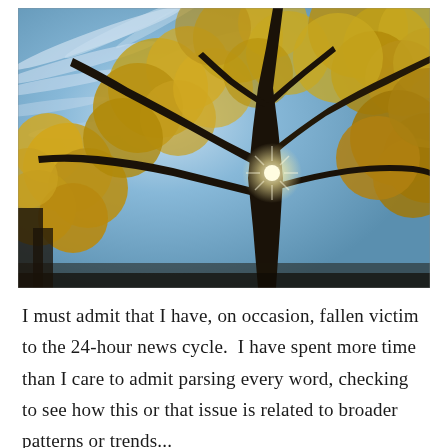[Figure (photo): Upward-looking photograph of a large tree with golden autumn leaves against a bright blue sky with wispy clouds. Sunlight flares through the dark trunk. Additional trees visible at the edges.]
I must admit that I have, on occasion, fallen victim to the 24-hour news cycle.  I have spent more time than I care to admit parsing every word, checking to see how this or that issue is related to broader patterns or trends...